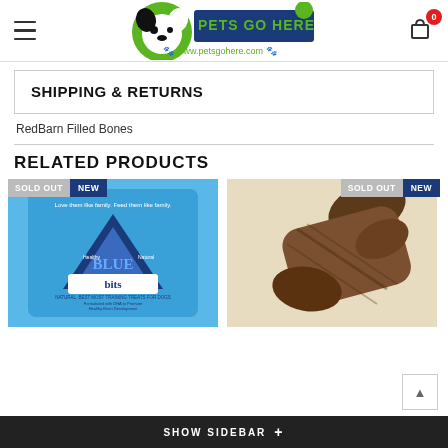PETS GO HERE — www.petsgohere.com
SHIPPING & RETURNS
RedBarn Filled Bones
RELATED PRODUCTS
[Figure (screenshot): Blue Buffalo Blue Bits dog treat bag — sold out, new badge]
[Figure (screenshot): Dog bone/chew product — sold out, new badge]